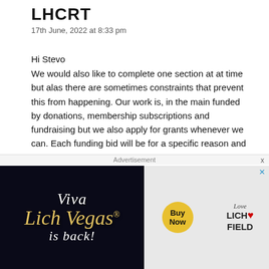LHCRT
17th June, 2022 at 8:33 pm
Hi Stevo
We would also like to complete one section at at time but alas there are sometimes constraints that prevent this from happening. Our work is, in the main funded by donations, membership subscriptions and fundraising but we also apply for grants whenever we can. Each funding bid will be for a specific reason and outcome. So, it follows that we work where we have succeeded in getting access and funding. In all cases of funding bids, we submit the bid and wait several months to hear whether we are successful or not. When we are successful, there is always a time limit within which the funds must be spent. This can result in looking like our work is “piecemeal and unplanned”, but it is far from it. Each section of canal being restored is also constrained by the construction sequence within each section
Advertisement
[Figure (advertisement): Viva Lich Vegas advertisement showing logo text and a t-shirt with Love Lich Field text and Buy Now button]